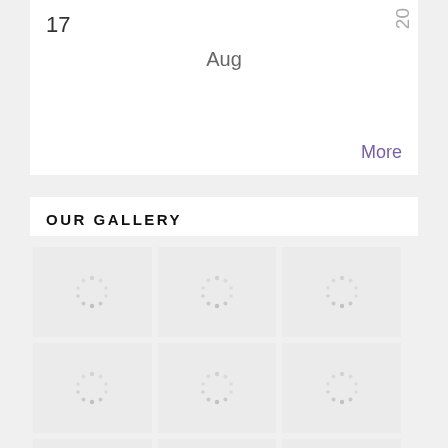17
Aug
More
OUR GALLERY
[Figure (photo): Gallery image placeholder 1 - loading spinner]
[Figure (photo): Gallery image placeholder 2 - loading spinner]
[Figure (photo): Gallery image placeholder 3 - loading spinner]
[Figure (photo): Gallery image placeholder 4 - loading spinner]
[Figure (photo): Gallery image placeholder 5 - loading spinner]
[Figure (photo): Gallery image placeholder 6 - loading spinner]
[Figure (photo): Gallery image placeholder 7 - loading spinner]
[Figure (photo): Gallery image placeholder 8 - loading spinner]
[Figure (photo): Gallery image placeholder 9 - loading spinner]